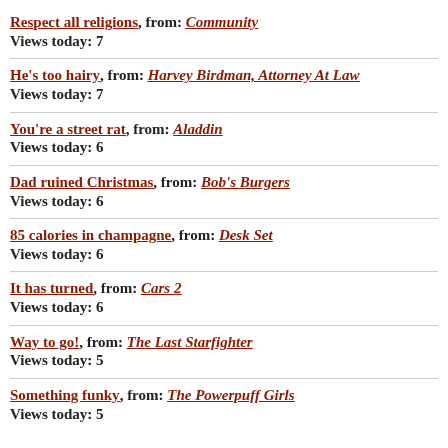Respect all religions, from: Community
Views today: 7
He's too hairy, from: Harvey Birdman, Attorney At Law
Views today: 7
You're a street rat, from: Aladdin
Views today: 6
Dad ruined Christmas, from: Bob's Burgers
Views today: 6
85 calories in champagne, from: Desk Set
Views today: 6
It has turned, from: Cars 2
Views today: 6
Way to go!, from: The Last Starfighter
Views today: 5
Something funky, from: The Powerpuff Girls
Views today: 5